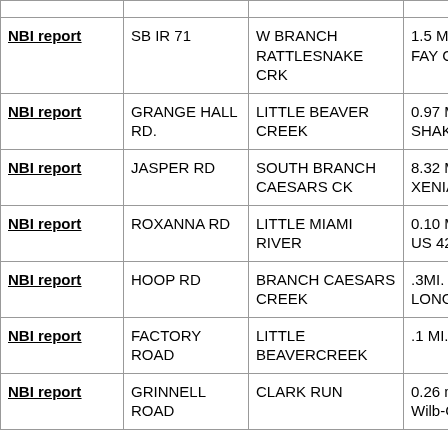|  |  |  |  |
| --- | --- | --- | --- |
| NBI report | SB IR 71 | W BRANCH RATTLESNAKE CRK | 1.5 MI S G FAY CO L |
| NBI report | GRANGE HALL RD. | LITTLE BEAVER CREEK | 0.97 MI. N SHAKERT |
| NBI report | JASPER RD | SOUTH BRANCH CAESARS CK | 8.32 MI. E XENIA CO |
| NBI report | ROXANNA RD | LITTLE MIAMI RIVER | 0.10 MI E. US 42 S. |
| NBI report | HOOP RD | BRANCH CAESARS CREEK | .3MI. W.O LONG RD |
| NBI report | FACTORY ROAD | LITTLE BEAVERCREEK | .1 MI. N O |
| NBI report | GRINNELL ROAD | CLARK RUN | 0.26 mi N Wilb-Clifto |